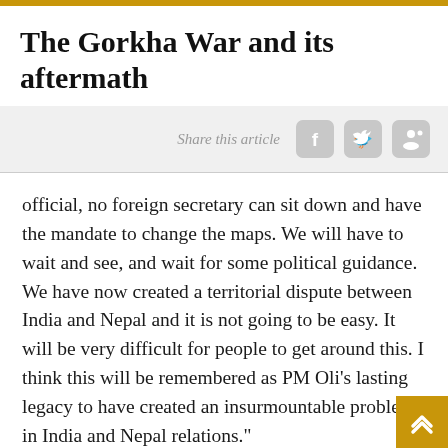The Gorkha War and its aftermath
Share this article
official, no foreign secretary can sit down and have the mandate to change the maps. We will have to wait and see, and wait for some political guidance. We have now created a territorial dispute between India and Nepal and it is not going to be easy. It will be very difficult for people to get around this. I think this will be remembered as PM Oli’s lasting legacy to have created an insurmountable problem in India and Nepal relations.”
The issues are complex. India sees Lipu Lekh and Kalapani as indissolubly linked, and intimately